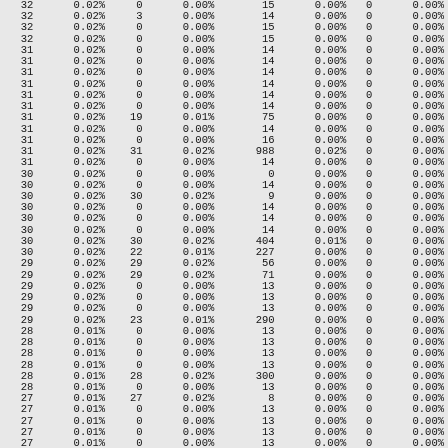| 32 | 0.02% | 0 | 0.00% | 15 | 0.00% | 0 | 0.00% |
| 32 | 0.02% | 3 | 0.00% | 14 | 0.00% | 0 | 0.00% |
| 32 | 0.02% | 0 | 0.00% | 15 | 0.00% | 0 | 0.00% |
| 32 | 0.02% | 0 | 0.00% | 15 | 0.00% | 0 | 0.00% |
| 31 | 0.02% | 0 | 0.00% | 14 | 0.00% | 0 | 0.00% |
| 31 | 0.02% | 0 | 0.00% | 14 | 0.00% | 0 | 0.00% |
| 31 | 0.02% | 0 | 0.00% | 14 | 0.00% | 0 | 0.00% |
| 31 | 0.02% | 0 | 0.00% | 14 | 0.00% | 0 | 0.00% |
| 31 | 0.02% | 0 | 0.00% | 14 | 0.00% | 0 | 0.00% |
| 31 | 0.02% | 0 | 0.00% | 14 | 0.00% | 0 | 0.00% |
| 31 | 0.02% | 19 | 0.01% | 75 | 0.00% | 0 | 0.00% |
| 31 | 0.02% | 0 | 0.00% | 14 | 0.00% | 0 | 0.00% |
| 31 | 0.02% | 0 | 0.00% | 16 | 0.00% | 0 | 0.00% |
| 31 | 0.02% | 31 | 0.02% | 988 | 0.02% | 0 | 0.00% |
| 31 | 0.02% | 0 | 0.00% | 14 | 0.00% | 0 | 0.00% |
| 30 | 0.02% | 0 | 0.00% | 0 | 0.00% | 0 | 0.00% |
| 30 | 0.02% | 0 | 0.00% | 14 | 0.00% | 0 | 0.00% |
| 30 | 0.02% | 30 | 0.02% | 9 | 0.00% | 0 | 0.00% |
| 30 | 0.02% | 0 | 0.00% | 14 | 0.00% | 0 | 0.00% |
| 30 | 0.02% | 0 | 0.00% | 14 | 0.00% | 0 | 0.00% |
| 30 | 0.02% | 0 | 0.00% | 14 | 0.00% | 0 | 0.00% |
| 30 | 0.02% | 30 | 0.02% | 404 | 0.01% | 0 | 0.00% |
| 30 | 0.02% | 22 | 0.01% | 227 | 0.00% | 0 | 0.00% |
| 29 | 0.02% | 29 | 0.02% | 56 | 0.00% | 0 | 0.00% |
| 29 | 0.02% | 29 | 0.02% | 71 | 0.00% | 0 | 0.00% |
| 29 | 0.02% | 0 | 0.00% | 13 | 0.00% | 0 | 0.00% |
| 29 | 0.02% | 0 | 0.00% | 13 | 0.00% | 0 | 0.00% |
| 29 | 0.02% | 0 | 0.00% | 13 | 0.00% | 0 | 0.00% |
| 29 | 0.02% | 23 | 0.01% | 290 | 0.00% | 0 | 0.00% |
| 28 | 0.01% | 0 | 0.00% | 13 | 0.00% | 0 | 0.00% |
| 28 | 0.01% | 0 | 0.00% | 13 | 0.00% | 0 | 0.00% |
| 28 | 0.01% | 0 | 0.00% | 13 | 0.00% | 0 | 0.00% |
| 28 | 0.01% | 0 | 0.00% | 13 | 0.00% | 0 | 0.00% |
| 28 | 0.01% | 28 | 0.02% | 300 | 0.00% | 0 | 0.00% |
| 28 | 0.01% | 0 | 0.00% | 13 | 0.00% | 0 | 0.00% |
| 27 | 0.01% | 27 | 0.02% | 8 | 0.00% | 0 | 0.00% |
| 27 | 0.01% | 0 | 0.00% | 13 | 0.00% | 0 | 0.00% |
| 27 | 0.01% | 0 | 0.00% | 13 | 0.00% | 0 | 0.00% |
| 27 | 0.01% | 0 | 0.00% | 13 | 0.00% | 0 | 0.00% |
| 27 | 0.01% | 0 | 0.00% | 13 | 0.00% | 0 | 0.00% |
| 27 | 0.01% | 27 | 0.02% | 3704 | 0.06% | 0 | 0.00% |